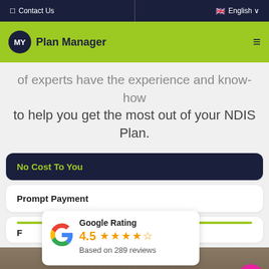Contact Us | English
[Figure (logo): MY Plan Manager logo with green navigation bar and hamburger menu]
of experts have the experience and know-how to help you get the most out of your NDIS Plan.
No Cost To You
Prompt Payment
F...
[Figure (infographic): Google Rating widget showing 4.5 stars based on 289 reviews]
[Figure (photo): Partial photo of a woman at the bottom of the page]